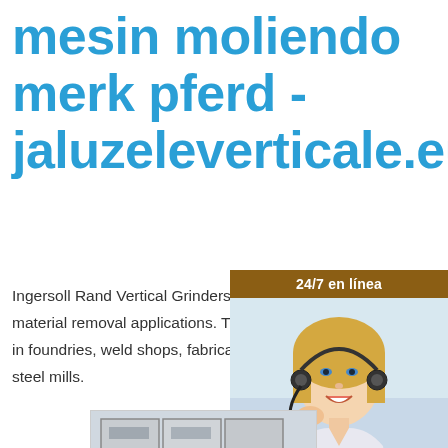mesin moliendo merk pferd - jaluzeleverticale.eu
Ingersoll Rand Vertical Grinders are designed for heavy-duty material removal applications. These tools are typically used in foundries, weld shops, fabrication facilities, shipyards, and steel mills.
[Figure (photo): Advertisement panel showing a woman with headset, brown background, '24/7 en línea' header, text 'Precio y el soporte técnico están disponibles', and a 'Cotizaciones' button]
[Figure (photo): Photo of electrical control panels/cabinets with wiring]
[Figure (photo): Photo of industrial machinery/equipment at a facility]
Ques...